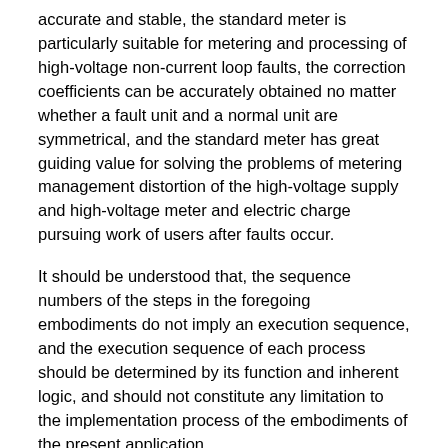accurate and stable, the standard meter is particularly suitable for metering and processing of high-voltage non-current loop faults, the correction coefficients can be accurately obtained no matter whether a fault unit and a normal unit are symmetrical, and the standard meter has great guiding value for solving the problems of metering management distortion of the high-voltage supply and high-voltage meter and electric charge pursuing work of users after faults occur.
It should be understood that, the sequence numbers of the steps in the foregoing embodiments do not imply an execution sequence, and the execution sequence of each process should be determined by its function and inherent logic, and should not constitute any limitation to the implementation process of the embodiments of the present application.
The above-mentioned embodiments are only used for illustrating the technical solutions of the present application, and not for limiting the same; although the present application has been described in detail with reference to the foregoing embodiments, it should be